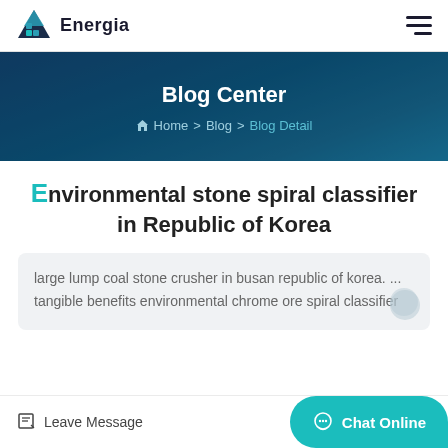Energia — navigation header with logo and hamburger menu
Blog Center
Home > Blog > Blog Detail
Environmental stone spiral classifier in Republic of Korea
large lump coal stone crusher in busan republic of korea. ... tangible benefits environmental chrome ore spiral classifier
Leave Message | Chat Online